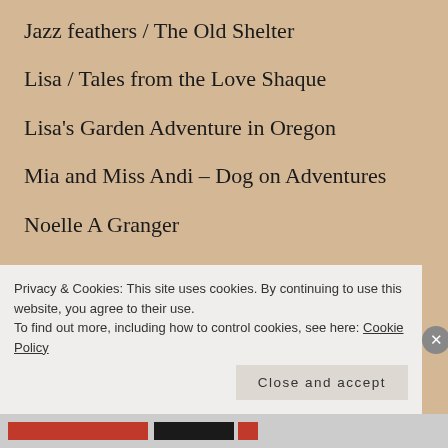Jazz feathers / The Old Shelter
Lisa / Tales from the Love Shaque
Lisa's Garden Adventure in Oregon
Mia and Miss Andi – Dog on Adventures
Noelle A Granger
Plucking of my Heartstrings
Pumpkin Princess
Privacy & Cookies: This site uses cookies. By continuing to use this website, you agree to their use.
To find out more, including how to control cookies, see here: Cookie Policy
Close and accept